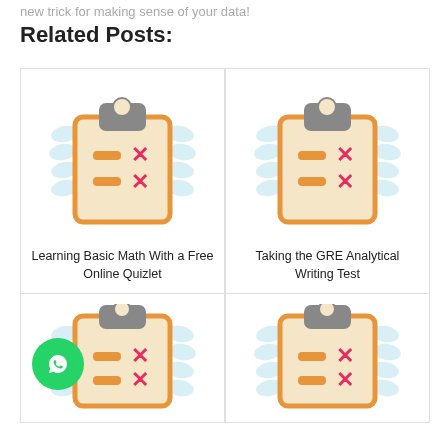new trick for making sense of your data!
Related Posts:
[Figure (illustration): Clipboard icon with checklist and red X marks - illustration for Learning Basic Math With a Free Online Quizlet]
Learning Basic Math With a Free Online Quizlet
[Figure (illustration): Clipboard icon with checklist and red X marks - illustration for Taking the GRE Analytical Writing Test]
Taking the GRE Analytical Writing Test
[Figure (illustration): Clipboard icon with checklist and red X marks - third related post illustration]
[Figure (illustration): Clipboard icon with checklist and red X marks - fourth related post illustration]
[Figure (logo): WhatsApp GetButton widget - green circular WhatsApp icon with Go.GetButton label]